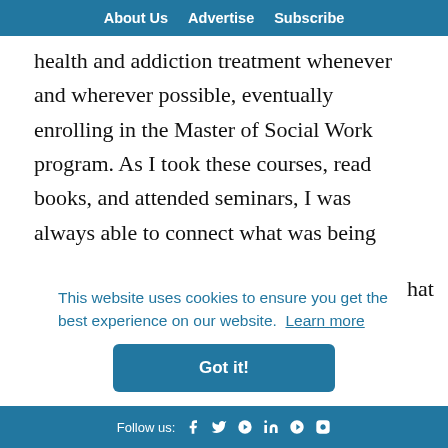About Us   Advertise   Subscribe
health and addiction treatment whenever and wherever possible, eventually enrolling in the Master of Social Work program. As I took these courses, read books, and attended seminars, I was always able to connect what was being learned with real life clients and experiences. I was also able to bring more to the in-class discussions, and
This website uses cookies to ensure you get the best experience on our website.  Learn more
Got it!
Follow us: